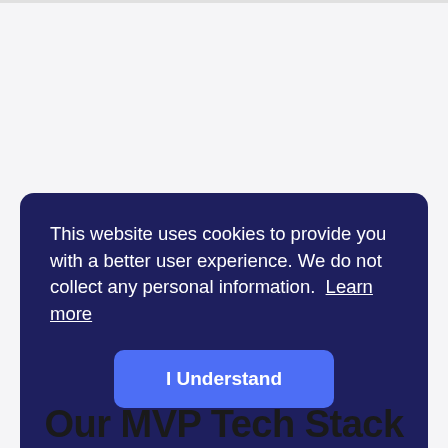This website uses cookies to provide you with a better user experience. We do not collect any personal information. Learn more
I Understand
Our MVP Tech Stack